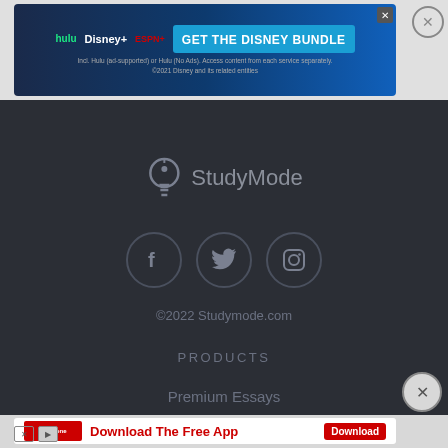[Figure (screenshot): Disney Bundle advertisement banner with Hulu, Disney+, ESPN+ logos and 'GET THE DISNEY BUNDLE' button on blue/dark background. Fine print: 'Incl. Hulu (ad-supported) or Hulu (No Ads). Access content from each service separately. ©2021 Disney and its related entities']
[Figure (logo): StudyMode logo with lightbulb icon and 'StudyMode' text on dark background]
[Figure (screenshot): Social media icons: Facebook, Twitter, Instagram in circular borders on dark background]
©2022 Studymode.com
PRODUCTS
Premium Essays
[Figure (screenshot): Firestone 'Download The Free App' advertisement with red Firestone logo, red headline text, and red Download button]